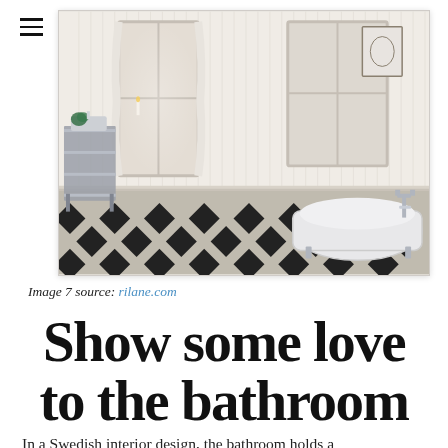[Figure (photo): Swedish-style bathroom interior with freestanding white clawfoot bathtub, vintage chrome fixtures, black and white checkered tile floor, white beadboard walls, and large windows with sheer curtains. A metal shelf unit is visible on the left.]
Image 7 source: rilane.com
Show some love to the bathroom
In a Swedish interior design, the bathroom holds a